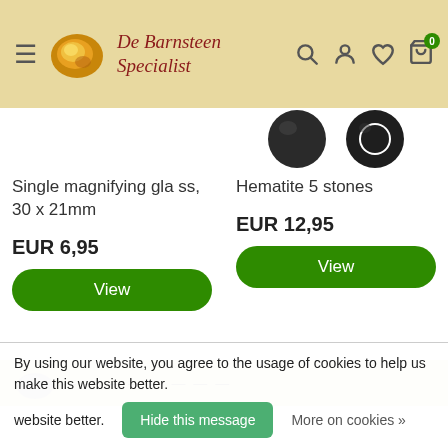De Barnsteen Specialist
[Figure (screenshot): Partial product images: two dark rounded stones visible at top right]
Single magnifying glass, 30 x 21mm
EUR 6,95
View
Hematite 5 stones
EUR 12,95
View
By using our website, you agree to the usage of cookies to help us make this website better.
Hide this message
More on cookies »